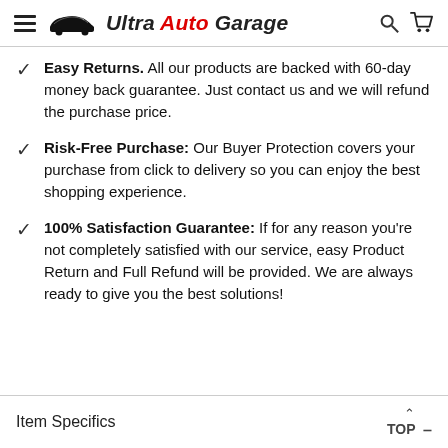Ultra Auto Garage
Easy Returns. All our products are backed with 60-day money back guarantee. Just contact us and we will refund the purchase price.
Risk-Free Purchase: Our Buyer Protection covers your purchase from click to delivery so you can enjoy the best shopping experience.
100% Satisfaction Guarantee: If for any reason you're not completely satisfied with our service, easy Product Return and Full Refund will be provided. We are always ready to give you the best solutions!
Item Specifics  TOP